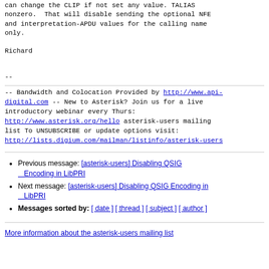can change the CLIP if not set any value. TALIAS nonzero.  That will disable sending the optional NFE and interpretation-APDU values for the calling name only.
Richard
--
-- Bandwidth and Colocation Provided by http://www.api-digital.com -- New to Asterisk? Join us for a live introductory webinar every Thurs:
http://www.asterisk.org/hello asterisk-users mailing list To UNSUBSCRIBE or update options visit:
http://lists.digium.com/mailman/listinfo/asterisk-users
Previous message: [asterisk-users] Disabling QSIG Encoding in LibPRI
Next message: [asterisk-users] Disabling QSIG Encoding in LibPRI
Messages sorted by: [ date ] [ thread ] [ subject ] [ author ]
More information about the asterisk-users mailing list